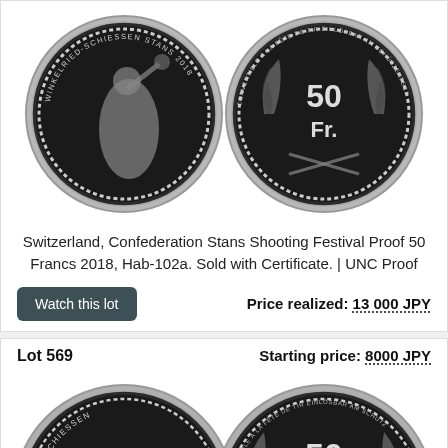[Figure (photo): Two sides of a Swiss shooting festival coin: obverse shows a female figure (Helvetia) with WINKELRIED-SCHIESSEN STANS 2018 inscription; reverse shows 50 Fr. denomination with laurel wreath and crossed rifles, inscribed CONVERTIBLE À LA FÊTE DE TIR and EINLÖSBAR AM SCHÜTZENFEST]
Switzerland, Confederation Stans Shooting Festival Proof 50 Francs 2018, Hab-102a. Sold with Certificate. | UNC Proof
Watch this lot
Price realized: 13 000 JPY
Lot 569
Starting price: 8000 JPY
[Figure (photo): Two sides of another Swiss shooting festival coin: obverse shows a bear figure with SCHIESSEN inscription; reverse shows 50 Fr. denomination with laurel wreath, inscribed CONVERTIBLE À LA FÊTE DE TIR and EINLÖSBAR AM SCHUTZ]